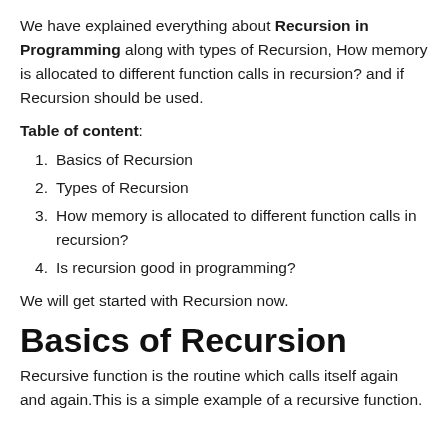We have explained everything about Recursion in Programming along with types of Recursion, How memory is allocated to different function calls in recursion? and if Recursion should be used.
Table of content:
1. Basics of Recursion
2. Types of Recursion
3. How memory is allocated to different function calls in recursion?
4. Is recursion good in programming?
We will get started with Recursion now.
Basics of Recursion
Recursive function is the routine which calls itself again and again.This is a simple example of a recursive function.